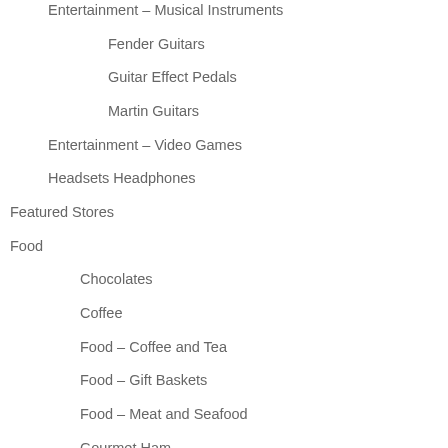Entertainment – Musical Instruments
Fender Guitars
Guitar Effect Pedals
Martin Guitars
Entertainment – Video Games
Headsets Headphones
Featured Stores
Food
Chocolates
Coffee
Food – Coffee and Tea
Food – Gift Baskets
Food – Meat and Seafood
Gourmet Ham
Grafton Village Cheese
Smoked Foods